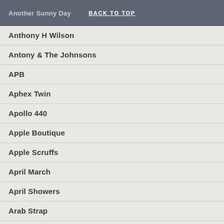Another Sunny Day | BACK TO TOP
Anthony H Wilson
Antony & The Johnsons
APB
Aphex Twin
Apollo 440
Apple Boutique
Apple Scruffs
April March
April Showers
Arab Strap
Arbor Labor Union
Arcade Fire